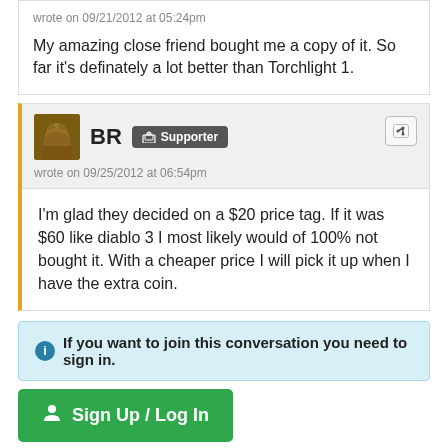wrote on 09/21/2012 at 05:24pm
My amazing close friend bought me a copy of it. So far it's definately a lot better than Torchlight 1.
BR  Supporter
wrote on 09/25/2012 at 06:54pm
I'm glad they decided on a $20 price tag. If it was $60 like diablo 3 I most likely would of 100% not bought it. With a cheaper price I will pick it up when I have the extra coin.
If you want to join this conversation you need to sign in.
Sign Up / Log In
Use of this site constitutes acceptance of our Terms of Service and Privacy Policy.